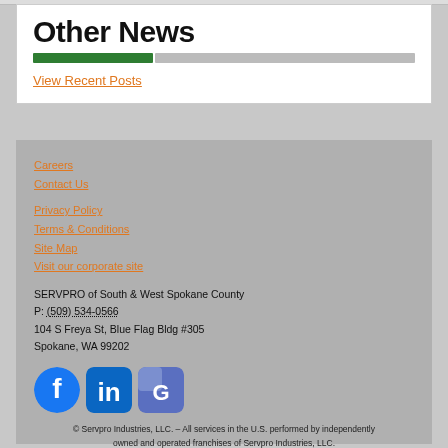Other News
View Recent Posts
Careers
Contact Us
Privacy Policy
Terms & Conditions
Site Map
Visit our corporate site
SERVPRO of South & West Spokane County
P: (509) 534-0566
104 S Freya St, Blue Flag Bldg #305
Spokane, WA 99202
[Figure (other): Social media icons: Facebook (blue circle), LinkedIn (blue rounded square), Google (blue/purple rounded square with G)]
© Servpro Industries, LLC. – All services in the U.S. performed by independently owned and operated franchises of Servpro Industries, LLC.
© Servpro Industries (Canada) ULC – All services in Canada performed by independently owned and operated franchises of Servpro Industries (Canada) ULC.